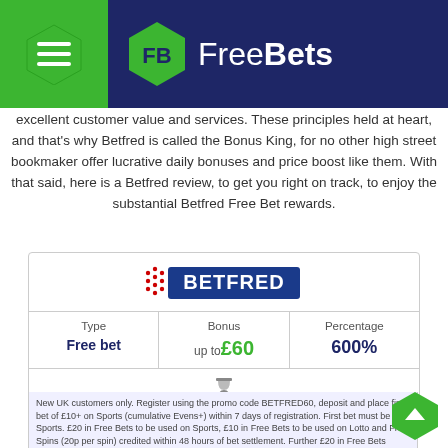FreeBets
excellent customer value and services. These principles held at heart, and that's why Betfred is called the Bonus King, for no other high street bookmaker offer lucrative daily bonuses and price boost like them. With that said, here is a Betfred review, to get you right on track, to enjoy the substantial Betfred Free Bet rewards.
[Figure (logo): Betfred logo - red and blue branding]
| Type | Bonus | Percentage |
| --- | --- | --- |
| Free bet | up to £60 | 600% |
Left Until Expiration
New UK customers only. Register using the promo code BETFRED60, deposit and place first bet of £10+ on Sports (cumulative Evens+) within 7 days of registration. First bet must be Sports. £20 in Free Bets to be used on Sports, £10 in Free Bets to be used on Lotto and Free Spins (20p per spin) credited within 48 hours of bet settlement. Further £20 in Free Bets credited 5 days after settlement. Bonuses have a 7-day expiry. Payment restrictions apply.